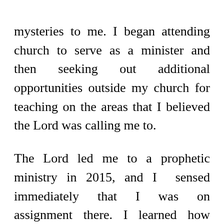mysteries to me. I began attending church to serve as a minister and then seeking out additional opportunities outside my church for teaching on the areas that I believed the Lord was calling me to.
The Lord led me to a prophetic ministry in 2015, and I  sensed immediately that I was on assignment there. I learned how important it is to know why you are being established in a ministry, and I quickly discerned that my role at my new home was that of a Watchman. The trust and encouragement from my new pastors from the moment we met enabled me to begin